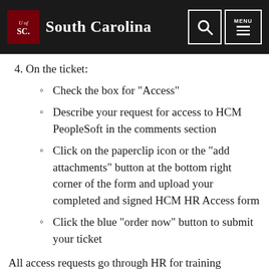South Carolina
4. On the ticket:
Check the box for "Access"
Describe your request for access to HCM PeopleSoft in the comments section
Click on the paperclip icon or the "add attachments" button at the bottom right corner of the form and upload your completed and signed HCM HR Access form
Click the blue "order now" button to submit your ticket
All access requests go through HR for training verification and data steward approval. You will receive an email once your request has been approved and your access has been